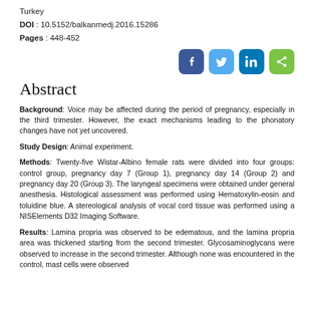Turkey
DOI : 10.5152/balkanmedj.2016.15286
Pages : 448-452
[Figure (other): Social media share buttons: Facebook (blue), Twitter (light blue), LinkedIn (dark blue), Share (green)]
Abstract
Background: Voice may be affected during the period of pregnancy, especially in the third trimester. However, the exact mechanisms leading to the phonatory changes have not yet uncovered.
Study Design: Animal experiment.
Methods: Twenty-five Wistar-Albino female rats were divided into four groups: control group, pregnancy day 7 (Group 1), pregnancy day 14 (Group 2) and pregnancy day 20 (Group 3). The laryngeal specimens were obtained under general anesthesia. Histological assessment was performed using Hematoxylin-eosin and toluidine blue. A stereological analysis of vocal cord tissue was performed using a NISElements D32 Imaging Software.
Results: Lamina propria was observed to be edematous, and the lamina propria area was thickened starting from the second trimester. Glycosaminoglycans were observed to increase in the second trimester. Although none was encountered in the control, mast cells were observed